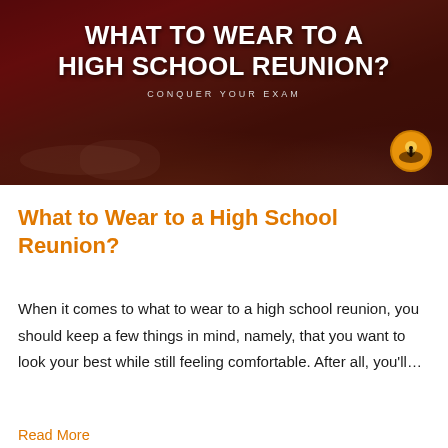[Figure (photo): Banner image of a high school reunion dinner table scene with dark red/maroon overlay. Bold white title text 'WHAT TO WEAR TO A HIGH SCHOOL REUNION?' with subtitle 'CONQUER YOUR EXAM' and a circular logo in the bottom right.]
What to Wear to a High School Reunion?
When it comes to what to wear to a high school reunion, you should keep a few things in mind, namely, that you want to look your best while still feeling comfortable. After all, you'll...
Read More